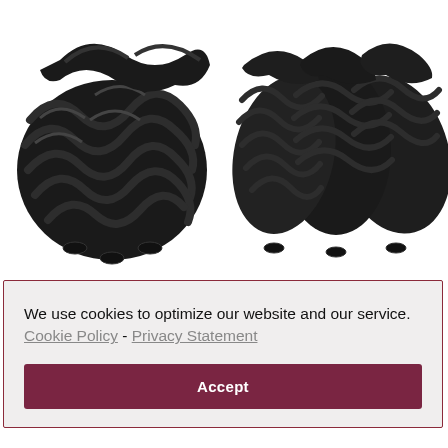[Figure (photo): Two product photos of black hair bundles/extensions on white background, side by side]
We use cookies to optimize our website and our service.  Cookie Policy - Privacy Statement
Accept
Extensions...
$33.69
Bundles With Closure Body Wave Bundles With Closure Natural Black
$99.99